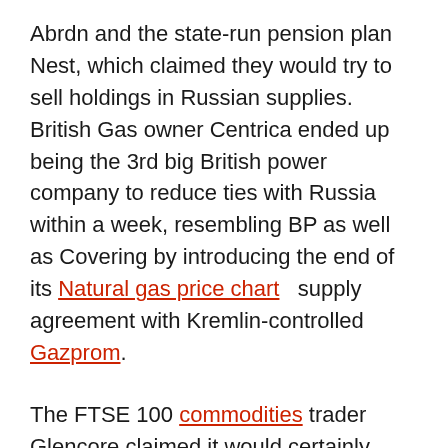Abrdn and the state-run pension plan Nest, which claimed they would try to sell holdings in Russian supplies. British Gas owner Centrica ended up being the 3rd big British power company to reduce ties with Russia within a week, resembling BP as well as Covering by introducing the end of its Natural gas price chart   supply agreement with Kremlin-controlled Gazprom.
The FTSE 100 commodities trader Glencore claimed it would certainly assess its business activities in Russia, including its equity stakes in 2 Russian-linked firms: state-controlled oil firm Rosneft and FTSE 100 miner En+ Group.
Financial experts at ING said: